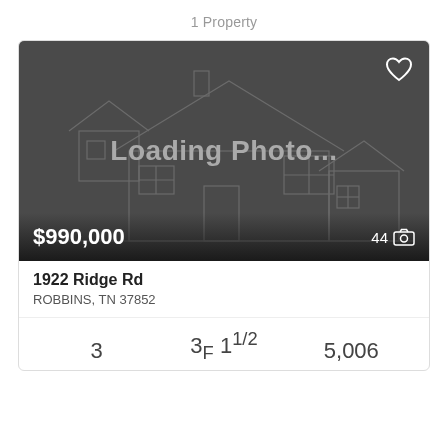1 Property
[Figure (photo): Real estate listing card with a loading photo placeholder showing a house outline silhouette on dark gray background with Loading Photo... text. Price $990,000 shown at bottom left and photo count 44 at bottom right.]
1922 Ridge Rd ROBBINS, TN 37852
3   3F 11/2   5,006